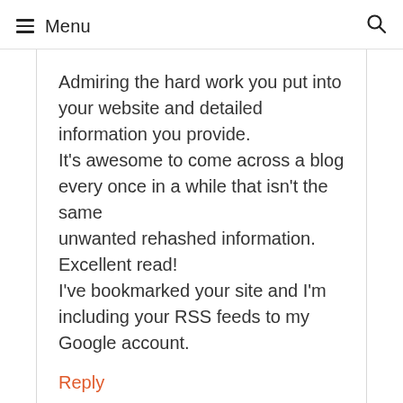≡ Menu  🔍
Admiring the hard work you put into your website and detailed information you provide.
It's awesome to come across a blog every once in a while that isn't the same unwanted rehashed information. Excellent read!
I've bookmarked your site and I'm including your RSS feeds to my Google account.
Reply